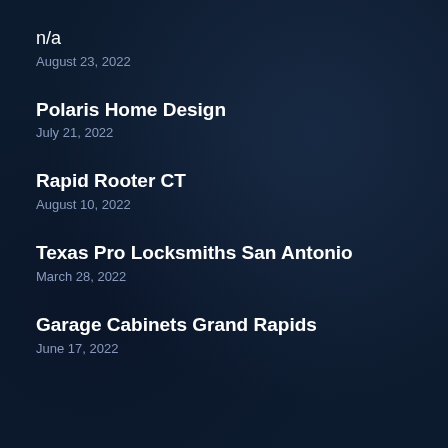n/a
August 23, 2022
Polaris Home Design
July 21, 2022
Rapid Rooter CT
August 10, 2022
Texas Pro Locksmiths San Antonio
March 28, 2022
Garage Cabinets Grand Rapids
June 17, 2022